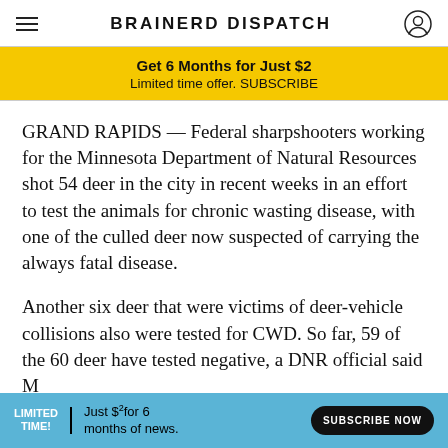BRAINERD DISPATCH
Get 6 Months for Just $2 Limited time offer. SUBSCRIBE
GRAND RAPIDS — Federal sharpshooters working for the Minnesota Department of Natural Resources shot 54 deer in the city in recent weeks in an effort to test the animals for chronic wasting disease, with one of the culled deer now suspected of carrying the always fatal disease.
Another six deer that were victims of deer-vehicle collisions also were tested for CWD. So far, 59 of the 60 deer have tested negative, a DNR official said M
[Figure (other): Bottom advertisement banner: LIMITED TIME! Just $2 for 6 months of news. SUBSCRIBE NOW button on blue background]